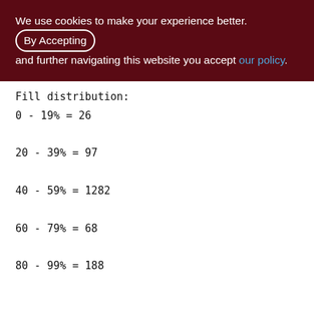We use cookies to make your experience better. By Accepting and further navigating this website you accept our policy.
Fill distribution:
0 - 19% = 26
20 - 39% = 97
40 - 59% = 1282
60 - 79% = 68
80 - 99% = 188

Index XQD_1000_3300_WARE_SOP_ROP_SND (0)
Root page: 236738, depth: 3, leaf buckets: 2025, nodes: 1415631
Average node length: 6.25, total dup: 1237324, max dup: 23